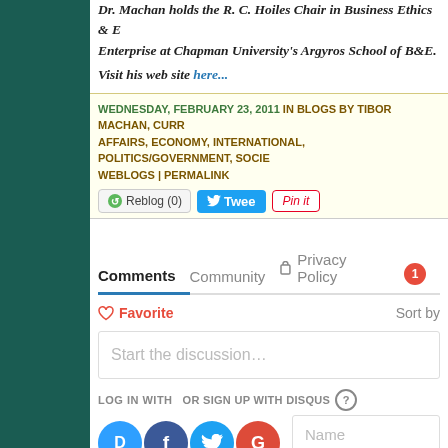Dr. Machan holds the R. C. Hoiles Chair in Business Ethics & Enterprise at Chapman University's Argyros School of B&E.
Visit his web site here...
WEDNESDAY, FEBRUARY 23, 2011 IN BLOGS BY TIBOR MACHAN, CURRENT AFFAIRS, ECONOMY, INTERNATIONAL, POLITICS/GOVERNMENT, SOCIETY, WEBLOGS | PERMALINK
[Figure (screenshot): Social sharing buttons: Reblog (0), Tweet, Pin it]
Comments  Community  Privacy Policy  1
Favorite  Sort by
Start the discussion…
LOG IN WITH
OR SIGN UP WITH DISQUS ?
[Figure (screenshot): Login icons: Disqus, Facebook, Twitter, Google]
Name